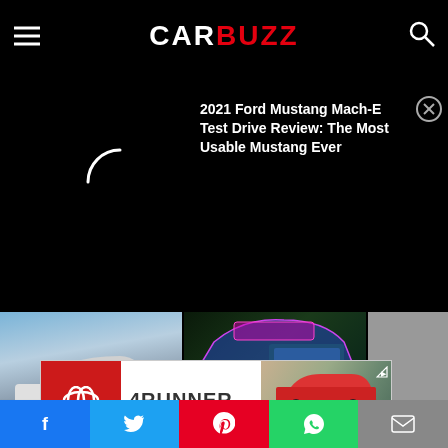CARBUZZ
2021 Ford Mustang Mach-E Test Drive Review: The Most Usable Mustang Ever
[Figure (screenshot): Loading spinner (partial circle arc in white on black background)]
[Figure (photo): The Volkswagen Tavendor - white SUV against dramatic sky background]
The Volkswagen Tavendor Looks Like A Sleeker Atlas
[Figure (illustration): 787-HP Ram TRX Tyrant - stylized neon illustration of pickup truck]
787-HP Ram TRX Tyrant, Police Banned From Writing Tickets,...
[Figure (photo): Partially visible third article card - Here's How B... Baby In Just S...]
[Figure (screenshot): Toyota 4Runner advertisement banner - red SUV with mountains background. Text: 4RUNNER, Prototype shown with options using visual effects.]
Social sharing buttons: Facebook, Twitter, Pinterest, WhatsApp, Email